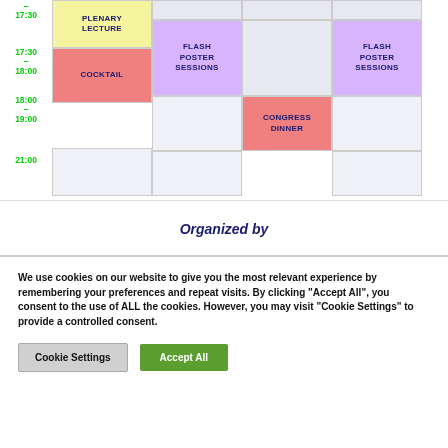| Time | Col1 | Col2 | Col3 | Col4 |
| --- | --- | --- | --- | --- |
| 17:30–18:00 | PLENARY LECTURE |  |  |  |
| 17:30–18:00 |  | FLASH POSTER SESSIONS |  | FLASH POSTER SESSIONS |
| 18:00–19:00 | COCKTAIL |  |  |  |
| 21:00 |  |  | CONGRESS DINNER |  |
Organized by
We use cookies on our website to give you the most relevant experience by remembering your preferences and repeat visits. By clicking "Accept All", you consent to the use of ALL the cookies. However, you may visit "Cookie Settings" to provide a controlled consent.